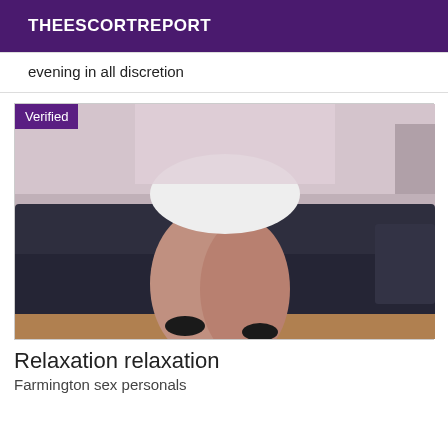THEESCORTREPORT
evening in all discretion
[Figure (photo): A woman in a white mini skirt seated on a dark leather sofa with legs crossed, wearing heels, torso cropped. A purple 'Verified' badge overlays the top-left corner.]
Relaxation relaxation
Farmington sex personals